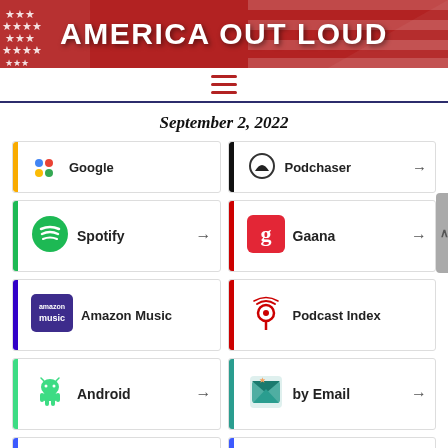[Figure (logo): America Out Loud website header banner with red background, white stars on left, American flag motif on right, white bold text reading AMERICA OUT LOUD]
[Figure (other): Navigation bar with hamburger menu icon (three red lines) on white background with dark blue bottom border]
September 2, 2022
Google (partial, top-cropped)
Podchaser →
Spotify →
Gaana →
Amazon Music
Podcast Index
Android →
by Email →
Pandora →
TuneIn →
(partial bottom cards, cut off)